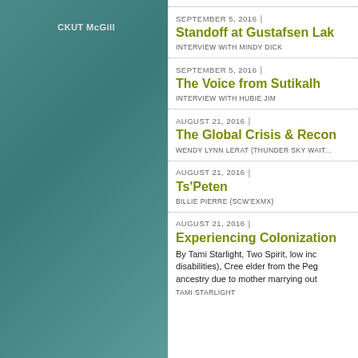CKUT McGill
SEPTEMBER 5, 2016
Standoff at Gustafsen Lak...
INTERVIEW WITH MINDY DICK
SEPTEMBER 5, 2016
The Voice from Sutikalh
INTERVIEW WITH HUBIE JIM
AUGUST 21, 2016
The Global Crisis & Recon...
WENDY LYNN LERAT (THUNDER SKY WAIT...
AUGUST 21, 2016
Ts'Peten
BILLIE PIERRE (SCW'EXMX)
AUGUST 21, 2016
Experiencing Colonization...
By Tami Starlight, Two Spirit, low inc... disabilities), Cree elder from the Peg... ancestry due to mother marrying out...
TAMI STARLIGHT